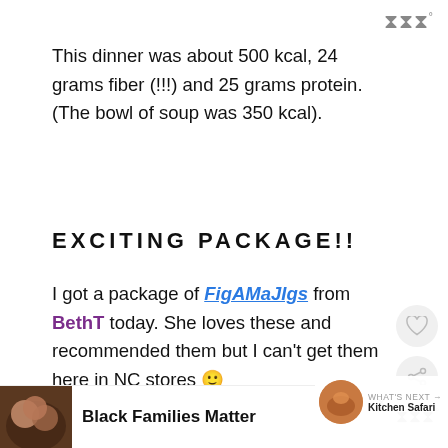lll°
This dinner was about 500 kcal, 24 grams fiber (!!!) and 25 grams protein. (The bowl of soup was 350 kcal).
EXCITING PACKAGE!!
I got a package of FigAMaJIgs from BethT today. She loves these and recommended them but I can't get them here in NC stores 🙂
[Figure (photo): Banner image of white flowers on a wooden surface]
WHAT'S NEXT → Kitchen Safari
[Figure (photo): Bottom advertisement with Black Families Matter text, showing a family photo]
lll°